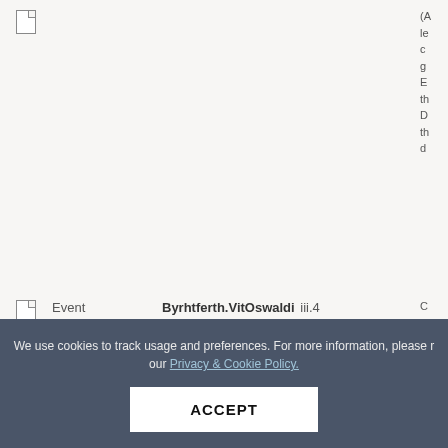|  | Type | Reference | Description |
| --- | --- | --- | --- |
|  |  |  | (partial row — top of page, description text clipped on right) |
| [doc icon] | Event | Byrhtferth.VitOswaldi iii.4 | C... (description clipped) |
| [doc icon] | Event | Byrhtferth.VitOswaldi iii.5 | D... (description clipped) |
| [doc icon] | Event | Byrhtferth.VitOswaldi iii.7 | (description clipped — partially visible) |
We use cookies to track usage and preferences. For more information, please read our Privacy & Cookie Policy.
ACCEPT